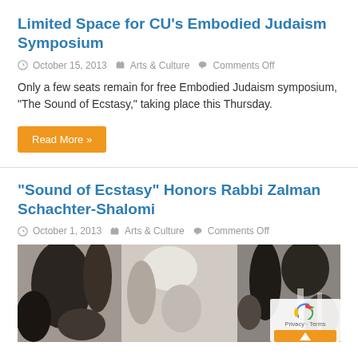Limited Space for CU's Embodied Judaism Symposium
October 15, 2013  Arts & Culture  Comments Off
Only a few seats remain for free Embodied Judaism symposium, “The Sound of Ecstasy,” taking place this Thursday.
Read More »
“Sound of Ecstasy” Honors Rabbi Zalman Schachter-Shalomi
October 1, 2013  Arts & Culture  Comments Off
[Figure (photo): Black and white photograph showing people with arms raised, partially cropped at bottom of page]